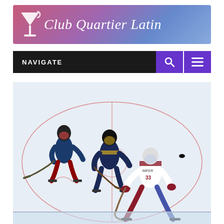[Figure (logo): Club Quartier Latin logo banner with gradient background from pink to blue, martini glass icon on left, site name text on right]
NAVIGATE
[Figure (photo): NHL hockey game action photo showing players on ice rink, one player in white jersey number 33, another in dark blue jersey, playing on white ice with red markings]